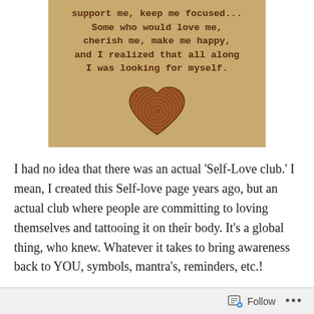[Figure (illustration): A tan/kraft paper background image with typewriter-style text reading: 'support me, keep me focused... Some who would love me, cherish me, make me happy, and I realized that all along I was looking for myself.' Below the text is a heart shape formed from a fingerprint.]
I had no idea that there was an actual 'Self-Love club.' I mean, I created this Self-love page years ago, but an actual club where people are committing to loving themselves and tattooing it on their body. It's a global thing, who knew. Whatever it takes to bring awareness back to YOU, symbols, mantra's, reminders, etc.!
Follow ...